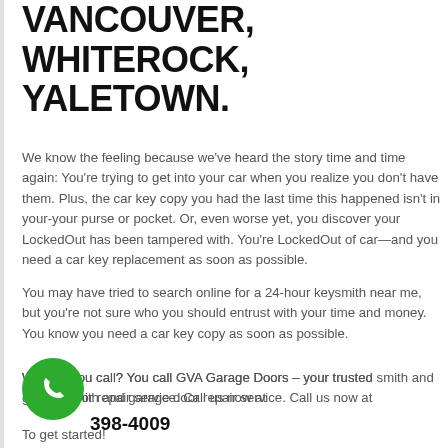VANCOUVER, WHITEROCK, YALETOWN.
We know the feeling because we've heard the story time and time again: You're trying to get into your car when you realize you don't have them. Plus, the car key copy you had the last time this happened isn't in your-your purse or pocket. Or, even worse yet, you discover your LockedOut has been tampered with. You're LockedOut of car—and you need a car key replacement as soon as possible.
You may have tried to search online for a 24-hour keysmith near me, but you're not sure who you should entrust with your time and money. You know you need a car key copy as soon as possible.
Who do you call? You call GVA Garage Doors – your trusted smith and garage door repair service. Call us now at
398-4009
To get started!